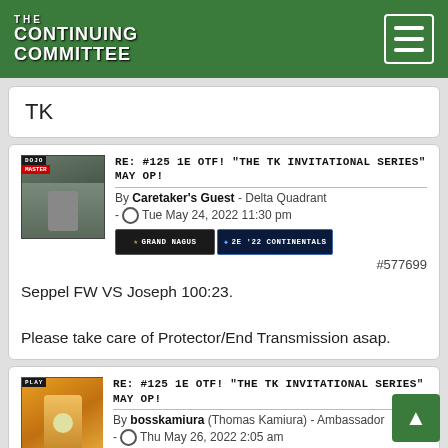THE CONTINUING COMMITTEE
TK
RE: #125 1E OTF! "THE TK INVITATIONAL SERIES" MAY OP!
By Caretaker's Guest - Delta Quadrant - Tue May 24, 2022 11:30 pm
#577699
Seppel FW VS Joseph 100:23.

Please take care of Protector/End Transmission asap.
RE: #125 1E OTF! "THE TK INVITATIONAL SERIES" MAY OP!
By bosskamiura (Thomas Kamiura) - Ambassador - Thu May 26, 2022 2:05 am
#5777...